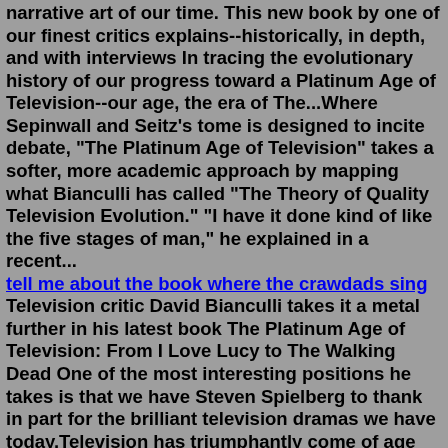narrative art of our time. This new book by one of our finest critics explains--historically, in depth, and with interviews In tracing the evolutionary history of our progress toward a Platinum Age of Television--our age, the era of The...Where Sepinwall and Seitz's tome is designed to incite debate, "The Platinum Age of Television" takes a softer, more academic approach by mapping what Bianculli has called "The Theory of Quality Television Evolution." "I have it done kind of like the five stages of man," he explained in a recent... tell me about the book where the crawdads sing Television critic David Bianculli takes it a metal further in his latest book The Platinum Age of Television: From I Love Lucy to The Walking Dead One of the most interesting positions he takes is that we have Steven Spielberg to thank in part for the brilliant television dramas we have today.Television has triumphantly come of age artistically; David Bianculli's book is the first to date to examine, in depth and in detail and with a keen critical and historical "For the discerning viewer, The Platinum